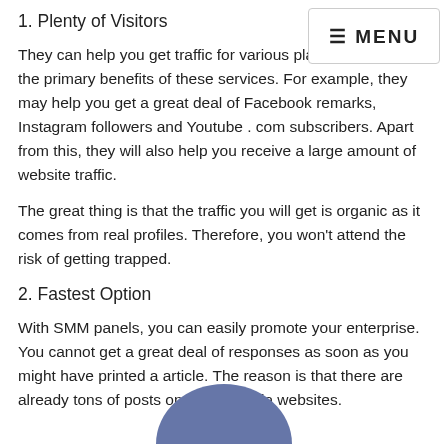1. Plenty of Visitors
They can help you get traffic for various platforms, one of the primary benefits of these services. For example, they may help you get a great deal of Facebook remarks, Instagram followers and Youtube . com subscribers. Apart from this, they will also help you receive a large amount of website traffic.
The great thing is that the traffic you will get is organic as it comes from real profiles. Therefore, you won't attend the risk of getting trapped.
2. Fastest Option
With SMM panels, you can easily promote your enterprise. You cannot get a great deal of responses as soon as you might have printed a article. The reason is that there are already tons of posts on social media websites.
[Figure (illustration): Partial view of a circular avatar/profile image in blue-gray color at the bottom center of the page]